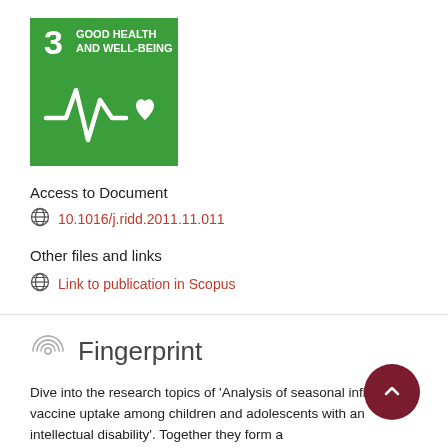[Figure (logo): UN SDG Goal 3 - Good Health and Well-Being badge. Green square with white text '3 GOOD HEALTH AND WELL-BEING' and white ECG/heart icon.]
Access to Document
10.1016/j.ridd.2011.11.011
Other files and links
Link to publication in Scopus
Fingerprint
Dive into the research topics of 'Analysis of seasonal influenza vaccine uptake among children and adolescents with an intellectual disability'. Together they form a